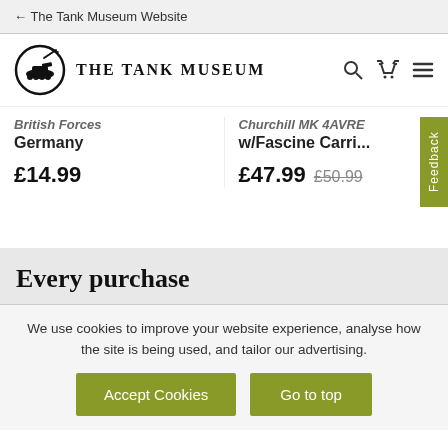← The Tank Museum Website
[Figure (logo): The Tank Museum logo: circular emblem with tank silhouette, next to text THE TANK MUSEUM]
British Forces Germany  £14.99
Churchill MK 4AVRE w/Fascine Carri...  £47.99  £50.99
Every purchase
We use cookies to improve your website experience, analyse how the site is being used, and tailor our advertising.
Accept Cookies   Go to top